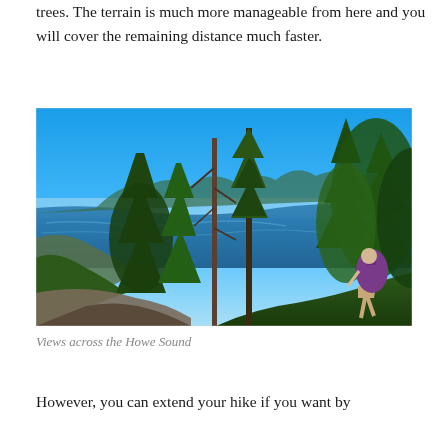trees. The terrain is much more manageable from here and you will cover the remaining distance much faster.
[Figure (photo): A hiker with a backpack ascending a rocky mountain trail through tall coniferous trees, with a panoramic view of Howe Sound and surrounding mountains visible in the background under a bright blue sky.]
Views across the Howe Sound
However, you can extend your hike if you want by